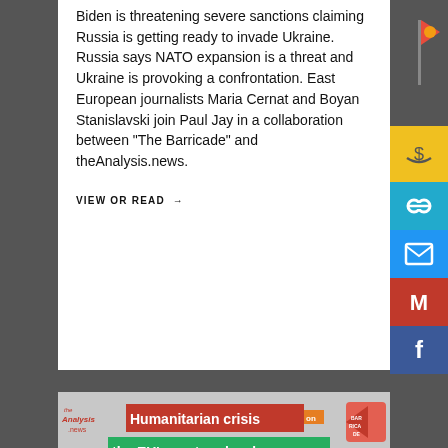Biden is threatening severe sanctions claiming Russia is getting ready to invade Ukraine. Russia says NATO expansion is a threat and Ukraine is provoking a confrontation. East European journalists Maria Cernat and Boyan Stanislavski join Paul Jay in a collaboration between “The Barricade” and theAnalysis.news.
VIEW OR READ →
[Figure (other): Social media / share sidebar icons on right: red flag/pennant icon, yellow donate icon, teal link icon, blue email icon, red Gmail icon, blue Facebook icon]
[Figure (photo): Thumbnail image with text overlay: 'Humanitarian crisis on the EU's eastern border'. Shows a map of Europe with Poland highlighted red and Belarus highlighted green. Logos for theAnalysis.news and The Barricade visible.]